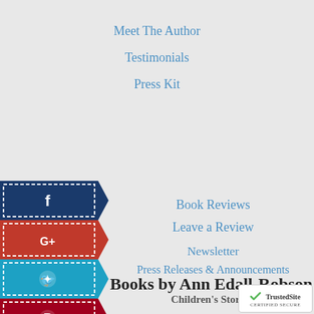Meet The Author
Testimonials
Press Kit
[Figure (illustration): Six social media banner flags on the left side: Facebook (dark blue), Google+ (red), Twitter/bird (blue), Pinterest (red), website/globe (orange), and a grey flag with dots.]
Book Reviews
Leave a Review
Newsletter
Press Releases & Announcements
Books by Ann Edall-Robson
Children's Stories
MUS, A Mouse Adventure
Barn Cat Buttons Series
Norman
[Figure (logo): TrustedSite Certified Secure badge in lower right corner]